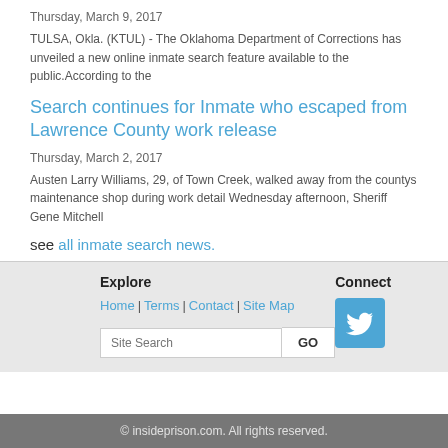Thursday, March 9, 2017
TULSA, Okla. (KTUL) -  The Oklahoma Department of Corrections has unveiled a new online inmate search feature available to the public.According to the
Search continues for Inmate who escaped from Lawrence County work release
Thursday, March 2, 2017
Austen Larry Williams, 29, of Town Creek, walked away from the countys maintenance shop during work detail Wednesday afternoon, Sheriff Gene Mitchell
see all inmate search news.
© insideprison.com. All rights reserved.